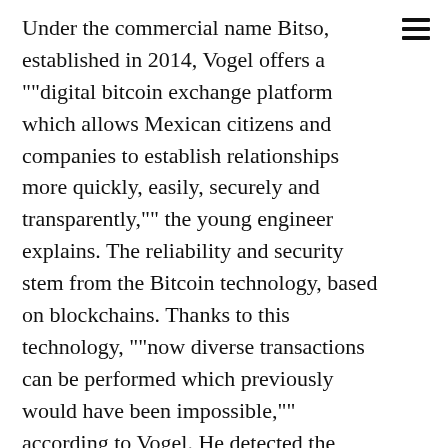Under the commercial name Bitso, established in 2014, Vogel offers a ""digital bitcoin exchange platform which allows Mexican citizens and companies to establish relationships more quickly, easily, securely and transparently,"" the young engineer explains. The reliability and security stem from the Bitcoin technology, based on blockchains. Thanks to this technology, ""now diverse transactions can be performed which previously would have been impossible,"" according to Vogel. He detected the growing use of the digital currency in the U.S., Europe and Asia, but noticed that no one in Latin America was aiming to do anything similar.
To date, Bitso has signed agreements with Mexican banks and has achieved direct linkage to deliver funds to mobile bank accounts. ""Mobile banking